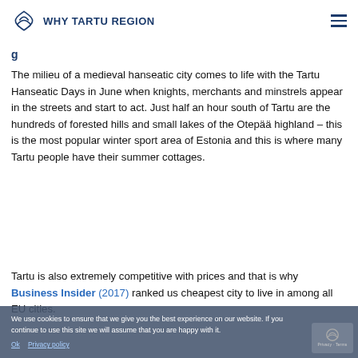WHY TARTU REGION
The milieu of a medieval hanseatic city comes to life with the Tartu Hanseatic Days in June when knights, merchants and minstrels appear in the streets and start to act. Just half an hour south of Tartu are the hundreds of forested hills and small lakes of the Otepää highland – this is the most popular winter sport area of Estonia and this is where many Tartu people have their summer cottages.
Tartu is also extremely competitive with prices and that is why Business Insider (2017) ranked us cheapest city to live in among all EU cities.
We use cookies to ensure that we give you the best experience on our website. If you continue to use this site we will assume that you are happy with it.